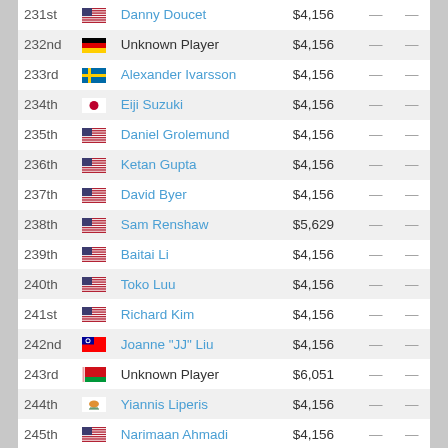| Rank | Country | Name | Prize |  |  |
| --- | --- | --- | --- | --- | --- |
| 231st | US | Danny Doucet | $4,156 | — | — |
| 232nd | DE | Unknown Player | $4,156 | — | — |
| 233rd | SE | Alexander Ivarsson | $4,156 | — | — |
| 234th | JP | Eiji Suzuki | $4,156 | — | — |
| 235th | US | Daniel Grolemund | $4,156 | — | — |
| 236th | US | Ketan Gupta | $4,156 | — | — |
| 237th | US | David Byer | $4,156 | — | — |
| 238th | US | Sam Renshaw | $5,629 | — | — |
| 239th | US | Baitai Li | $4,156 | — | — |
| 240th | US | Toko Luu | $4,156 | — | — |
| 241st | US | Richard Kim | $4,156 | — | — |
| 242nd | CN | Joanne "JJ" Liu | $4,156 | — | — |
| 243rd | BY | Unknown Player | $6,051 | — | — |
| 244th | CY | Yiannis Liperis | $4,156 | — | — |
| 245th | US | Narimaan Ahmadi | $4,156 | — | — |